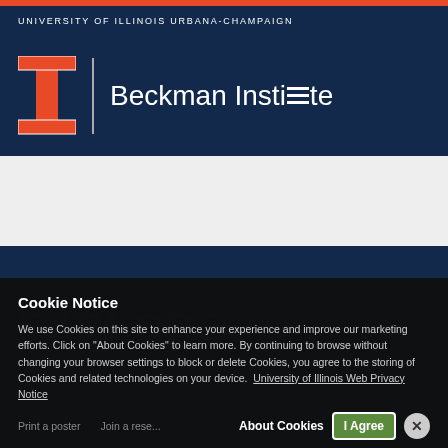UNIVERSITY OF ILLINOIS URBANA-CHAMPAIGN
[Figure (logo): University of Illinois block I logo in orange with Beckman Institute text in white on navy background]
[Figure (screenshot): White content band below header, dark navy section below with EXPLORE text visible]
EXPLORE
Cookie Notice
We use Cookies on this site to enhance your experience and improve our marketing efforts. Click on "About Cookies" to learn more. By continuing to browse without changing your browser settings to block or delete Cookies, you agree to the storing of Cookies and related technologies on your device. University of Illinois Web Privacy Notice
Print a poster
Join a research y
About Cookies
I Agree